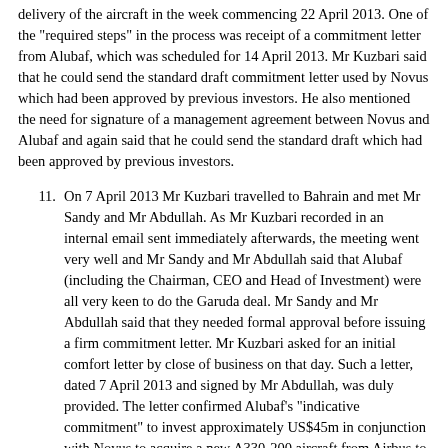delivery of the aircraft in the week commencing 22 April 2013. One of the "required steps" in the process was receipt of a commitment letter from Alubaf, which was scheduled for 14 April 2013. Mr Kuzbari said that he could send the standard draft commitment letter used by Novus which had been approved by previous investors. He also mentioned the need for signature of a management agreement between Novus and Alubaf and again said that he could send the standard draft which had been approved by previous investors.
11. On 7 April 2013 Mr Kuzbari travelled to Bahrain and met Mr Sandy and Mr Abdullah. As Mr Kuzbari recorded in an internal email sent immediately afterwards, the meeting went very well and Mr Sandy and Mr Abdullah said that Alubaf (including the Chairman, CEO and Head of Investment) were all very keen to do the Garuda deal. Mr Sandy and Mr Abdullah said that they needed formal approval before issuing a firm commitment letter. Mr Kuzbari asked for an initial comfort letter by close of business on that day. Such a letter, dated 7 April 2013 and signed by Mr Abdullah, was duly provided. The letter confirmed Alubaf's "indicative commitment" to invest approximately US$45m in conjunction with Novus to acquire a new A330-200 aircraft from Airbus to be delivered on or about 22 April 2013 and to